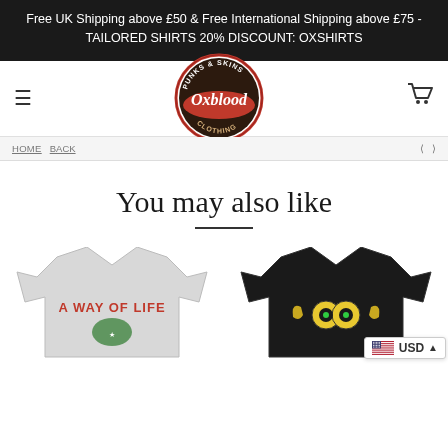Free UK Shipping above £50 & Free International Shipping above £75 - TAILORED SHIRTS 20% DISCOUNT: OXSHIRTS
[Figure (logo): Oxblood Clothing logo — circular badge with 'Punks & Skins' text around top, 'Oxblood' script in the center on a red banner, and 'Clothing' text at the bottom]
You may also like
[Figure (photo): Grey t-shirt with 'A Way of Life' graphic print on the chest]
[Figure (photo): Black t-shirt with a graphic featuring an owl surrounded by laurel wreath in yellow/green]